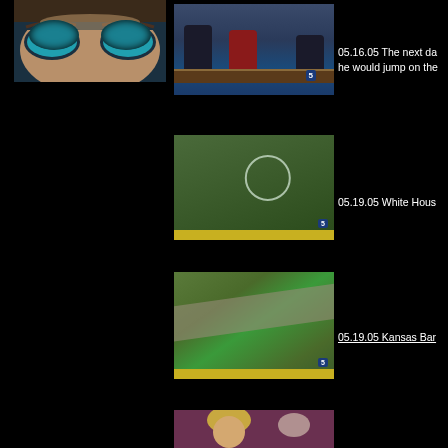[Figure (screenshot): Close-up of eyes with teal/cyan coloring, artistic or animated style]
[Figure (screenshot): News studio with three people at a desk, channel 5 logo visible]
05.16.05 The next da he would jump on the
[Figure (screenshot): Aerial footage with a circle highlighting something on the ground, channel 5 logo]
05.19.05 White Hous
[Figure (screenshot): Aerial footage of road/runway with cars, channel 5 logo]
05.19.05 Kansas Bar
[Figure (screenshot): Partial view of person with blonde hair on dark background]